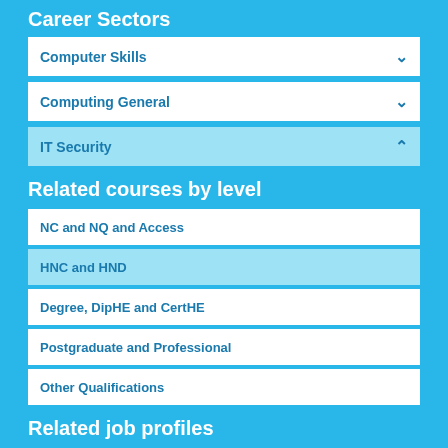Career Sectors
Computer Skills
Computing General
IT Security
Related courses by level
NC and NQ and Access
HNC and HND
Degree, DipHE and CertHE
Postgraduate and Professional
Other Qualifications
Related job profiles
Cyber Security Analyst